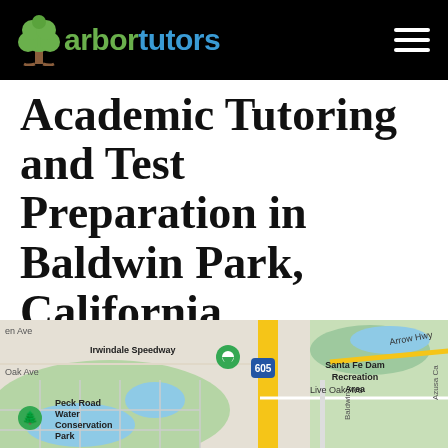arbor tutors
Academic Tutoring and Test Preparation in Baldwin Park, California
[Figure (map): Google Maps view of Baldwin Park, California area showing Irwindale Speedway, Arrow Hwy, Route 605, Live Oak Ave, Peck Road Water Conservation Park, Santa Fe Dam Recreation Area, and Azusa Ca label on the right edge.]